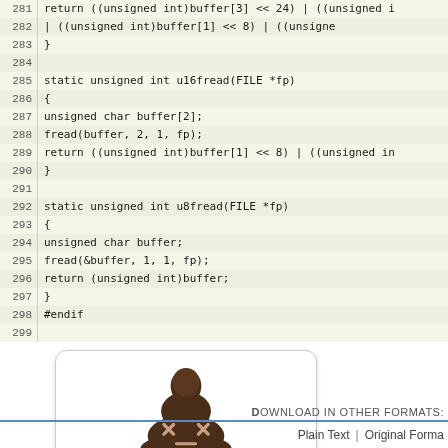[Figure (screenshot): Source code viewer showing lines 281-299 of a C file with functions u16fread and u8fread, with line numbers in a beige/tan gutter on the left and code on the right.]
[Figure (illustration): A cartoon poop emoji with X eyes and a dash mouth inside a rounded white box, with label 'View changes...' below it.]
Note: See
DOWNLOAD IN OTHER FORMATS:
Plain Text | Original Forma